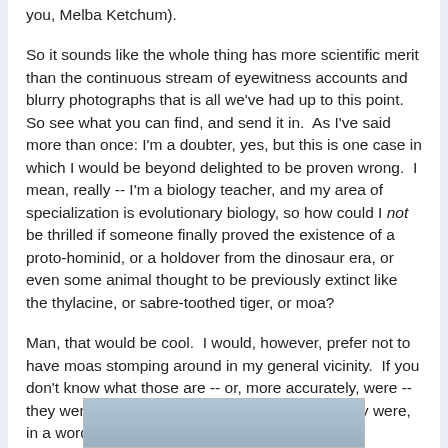you, Melba Ketchum).
So it sounds like the whole thing has more scientific merit than the continuous stream of eyewitness accounts and blurry photographs that is all we've had up to this point.  So see what you can find, and send it in.  As I've said more than once: I'm a doubter, yes, but this is one case in which I would be beyond delighted to be proven wrong.  I mean, really -- I'm a biology teacher, and my area of specialization is evolutionary biology, so how could I not be thrilled if someone finally proved the existence of a proto-hominid, or a holdover from the dinosaur era, or even some animal thought to be previously extinct like the thylacine, or sabre-toothed tiger, or moa?
Man, that would be cool.  I would, however, prefer not to have moas stomping around in my general vicinity.  If you don't know what those are -- or, more accurately, were -- they were like badass ostriches on steroids.  They were, in a word, scary.
[Figure (photo): Partial photograph visible at the bottom of the page, appears to be an outdoor or landscape image with blue-grey tones.]